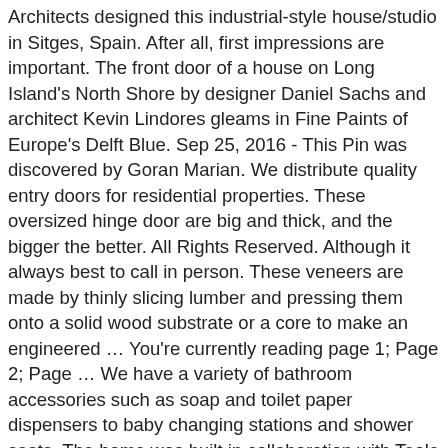Architects designed this industrial-style house/studio in Sitges, Spain. After all, first impressions are important. The front door of a house on Long Island's North Shore by designer Daniel Sachs and architect Kevin Lindores gleams in Fine Paints of Europe's Delft Blue. Sep 25, 2016 - This Pin was discovered by Goran Marian. We distribute quality entry doors for residential properties. These oversized hinge door are big and thick, and the bigger the better. All Rights Reserved. Although it always best to call in person. These veneers are made by thinly slicing lumber and pressing them onto a solid wood substrate or a core to make an engineered … You're currently reading page 1; Page 2; Page … We have a variety of bathroom accessories such as soap and toilet paper dispensers to baby changing stations and shower seats. The home was built in collaboration with Teale Architecture. Architectural doors are sure to make your home not only look great but to provide you with a … Leading manufacturer of custom made aluminium windows and doors manufactured locally in Queensland for your